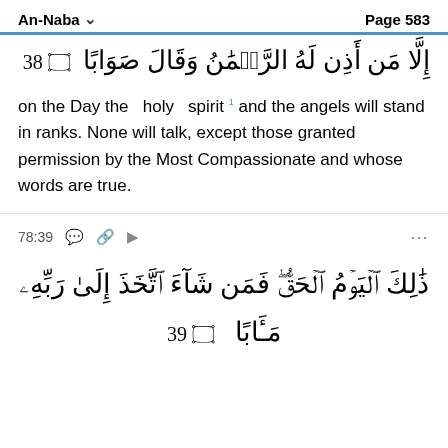An-Naba   Page 583
إِلَّا مَن أَذِن لَهُ الرَّحۡمَٰنُ وَقَالَ صَوَابًا ﴿٣٨﴾
on the Day the holy spirit 1 and the angels will stand in ranks. None will talk, except those granted permission by the Most Compassionate and whose words are true.
78:39
ذَٰلِكَ ٱلۡيَوۡمُ ٱلۡحَقُّۖ فَمَن شَآءَ ٱتَّخَذَ إِلَىٰ رَبِّهِۦ مَـَٔابًا ﴿٣٩﴾